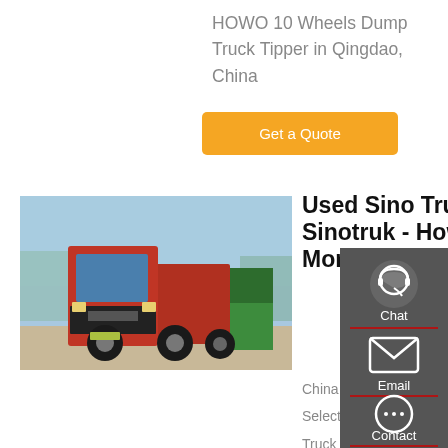HOWO 10 Wheels Dump Truck Tipper in Qingdao, China
Get a Quote
[Figure (photo): Red HOWO/Sinotruk dump truck facing forward in a yard with green trucks visible in background, blue sky]
Used Sino Truck For Sale. Sinotruk - Howo Equipment & More
China Sinotruck Tipper Truck manufacturers - Select 2021 high quality Sinotruck Tipper Truck products in best price from certified Chinese Truck, China Automobile suppliers,
[Figure (infographic): Sidebar panel with Chat, Email, Contact, and Top navigation icons on dark grey background]